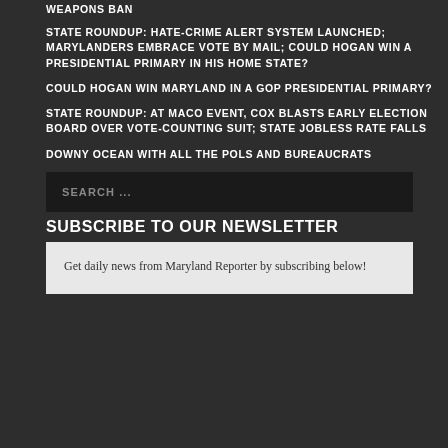WEAPONS BAN
STATE ROUNDUP: HATE-CRIME ALERT SYSTEM LAUNCHED; MARYLANDERS EMBRACE VOTE BY MAIL; COULD HOGAN WIN A PRESIDENTIAL PRIMARY IN HIS HOME STATE?
COULD HOGAN WIN MARYLAND IN A GOP PRESIDENTIAL PRIMARY?
STATE ROUNDUP: AT MACO EVENT, COX BLASTS EARLY ELECTION BOARD OVER VOTE-COUNTING SUIT; STATE JOBLESS RATE FALLS
DOWNY OCEAN WITH ALL THE POLS AND BUREAUCRATS
SEARCH ...
SUBSCRIBE TO OUR NEWSLETTER
Get daily news from Maryland Reporter by subscribing below!